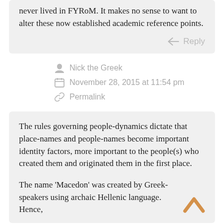never lived in FYRoM. It makes no sense to want to alter these now established academic reference points.
Reply
Nick the Greek
November 28, 2015 at 11:54 pm
Permalink
The rules governing people-dynamics dictate that place-names and people-names become important identity factors, more important to the people(s) who created them and originated them in the first place.
The name 'Macedon' was created by Greek-speakers using archaic Hellenic language. Hence,